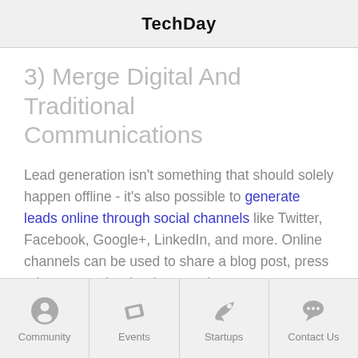TechDay
3) Merge Digital And Traditional Communications
Lead generation isn't something that should solely happen offline - it's also possible to generate leads online through social channels like Twitter, Facebook, Google+, LinkedIn, and more. Online channels can be used to share a blog post, press release, or other lead generation content.
When it comes to getting your message
Community | Events | Startups | Contact Us